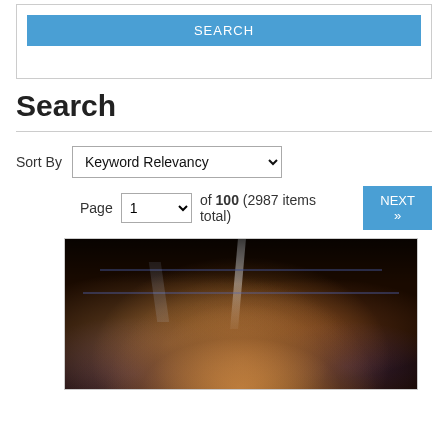[Figure (screenshot): Search button interface element — blue SEARCH button]
Search
Sort By  Keyword Relevancy
Page 1 of 100 (2987 items total)  NEXT »
[Figure (photo): A blurry crowd photo taken at a sporting or entertainment event in a dark arena with stadium lighting and purple/blue structural elements visible]